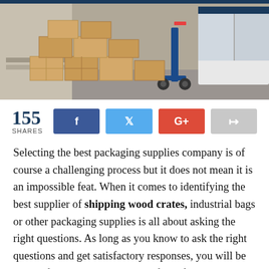[Figure (photo): Photo of cardboard boxes stacked on a loading dock next to a blue hand truck and delivery van]
155 SHARES
Selecting the best packaging supplies company is of course a challenging process but it does not mean it is an impossible feat. When it comes to identifying the best supplier of shipping wood crates, industrial bags or other packaging supplies is all about asking the right questions. As long as you know to ask the right questions and get satisfactory responses, you will be able to find the right suppliers. If you fail to ask the right questions either because you did not know what